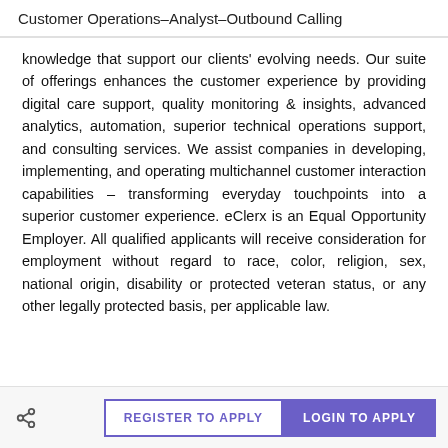Customer Operations–Analyst–Outbound Calling
knowledge that support our clients' evolving needs. Our suite of offerings enhances the customer experience by providing digital care support, quality monitoring & insights, advanced analytics, automation, superior technical operations support, and consulting services. We assist companies in developing, implementing, and operating multichannel customer interaction capabilities – transforming everyday touchpoints into a superior customer experience. eClerx is an Equal Opportunity Employer. All qualified applicants will receive consideration for employment without regard to race, color, religion, sex, national origin, disability or protected veteran status, or any other legally protected basis, per applicable law.
REGISTER TO APPLY   LOGIN TO APPLY